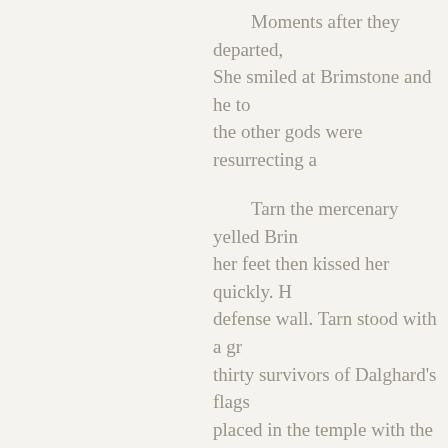Moments after they departed, She smiled at Brimstone and he to the other gods were resurrecting a
Tarn the mercenary yelled Brin her feet then kissed her quickly. H defense wall. Tarn stood with a gr thirty survivors of Dalghard's flags placed in the temple with the rest
Later that afternoon, it was de to Sic Dalar. This time even Ogrim
There was some confusion ab three gods to get it settled. Most o slain the god. They were congrat